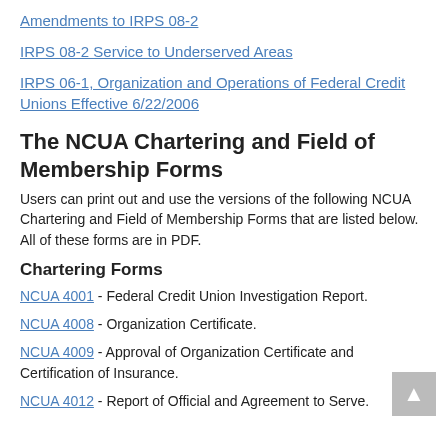Amendments to IRPS 08-2
IRPS 08-2 Service to Underserved Areas
IRPS 06-1, Organization and Operations of Federal Credit Unions Effective 6/22/2006
The NCUA Chartering and Field of Membership Forms
Users can print out and use the versions of the following NCUA Chartering and Field of Membership Forms that are listed below. All of these forms are in PDF.
Chartering Forms
NCUA 4001 - Federal Credit Union Investigation Report.
NCUA 4008 - Organization Certificate.
NCUA 4009 - Approval of Organization Certificate and Certification of Insurance.
NCUA 4012 - Report of Official and Agreement to Serve.